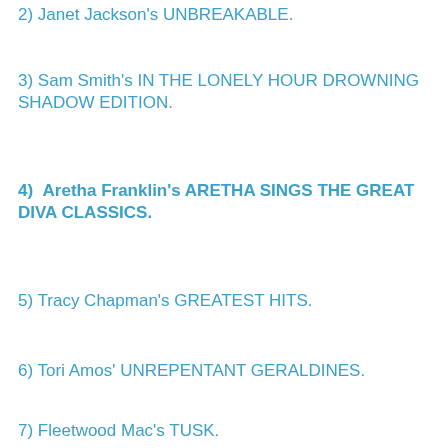2) Janet Jackson's UNBREAKABLE.
3) Sam Smith's IN THE LONELY HOUR DROWNING SHADOW EDITION.
4) Aretha Franklin's ARETHA SINGS THE GREAT DIVA CLASSICS.
5) Tracy Chapman's GREATEST HITS.
6) Tori Amos' UNREPENTANT GERALDINES.
7) Fleetwood Mac's TUSK.